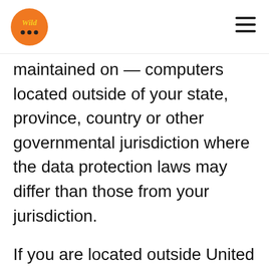Wild [logo]
maintained on — computers located outside of your state, province, country or other governmental jurisdiction where the data protection laws may differ than those from your jurisdiction.
If you are located outside United Kingdom and choose to provide information to us, please note that we transfer the information, including Personal Information, to United Kingdom and process it there.